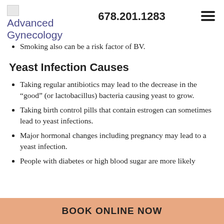Advanced Gynecology  678.201.1283
Smoking also can be a risk factor of BV.
Yeast Infection Causes
Taking regular antibiotics may lead to the decrease in the “good” (or lactobacillus) bacteria causing yeast to grow.
Taking birth control pills that contain estrogen can sometimes lead to yeast infections.
Major hormonal changes including pregnancy may lead to a yeast infection.
People with diabetes or high blood sugar are more likely
BOOK ONLINE NOW